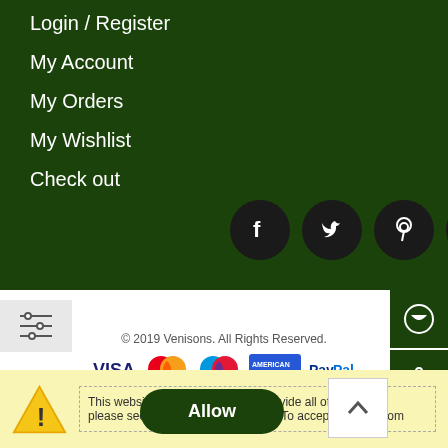Login / Register
My Account
My Orders
My Wishlist
Check out
[Figure (illustration): Social media icons: Facebook, Twitter, Pinterest, Instagram on dark circular backgrounds]
© 2019 Venisons. All Rights Reserved.
[Figure (illustration): Payment method logos: VISA, MasterCard, Maestro, American Express, PayPal]
This website requires cookies to provide all of its features, please see our Privacy Policy page. To accept cookies from